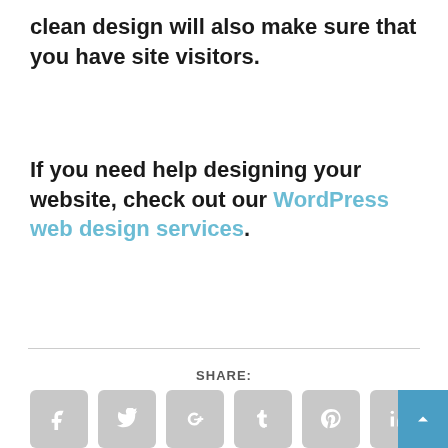clean design will also make sure that you have site visitors.
If you need help designing your website, check out our WordPress web design services.
[Figure (infographic): Social share buttons row: Facebook, Twitter, Google+, Tumblr, Pinterest, LinkedIn, Buffer, StumbleUpon icons; second row: Email, Print icons. Back-to-top button in blue on right.]
[Figure (infographic): RATE label followed by five grey star rating icons.]